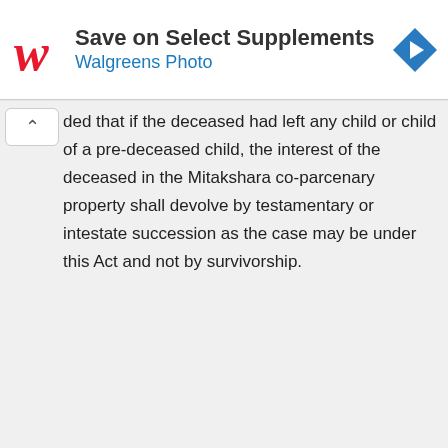[Figure (infographic): Walgreens advertisement banner: red Walgreens W logo, text 'Save on Select Supplements' and 'Walgreens Photo' in blue, blue diamond navigation icon on the right]
ded that if the deceased had left any child or child of a pre-deceased child, the interest of the deceased in the Mitakshara co-parcenary property shall devolve by testamentary or intestate succession as the case may be under this Act and not by survivorship.